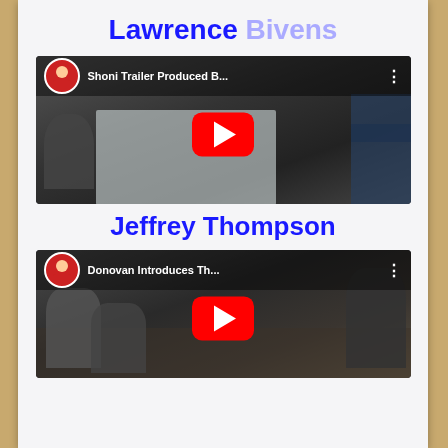Lawrence Bivens
[Figure (screenshot): YouTube video thumbnail for 'Shoni Trailer Produced B...' showing a person presenting in a classroom with a projection screen]
Jeffrey Thompson
[Figure (screenshot): YouTube video thumbnail for 'Donovan Introduces Th...' showing people seated at desks in a classroom setting]